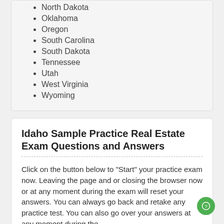North Dakota
Oklahoma
Oregon
South Carolina
South Dakota
Tennessee
Utah
West Virginia
Wyoming
Idaho Sample Practice Real Estate Exam Questions and Answers
Click on the button below to "Start" your practice exam now. Leaving the page and or closing the browser now or at any moment during the exam will reset your answers. You can always go back and retake any practice test. You can also go over your answers at any moment during the